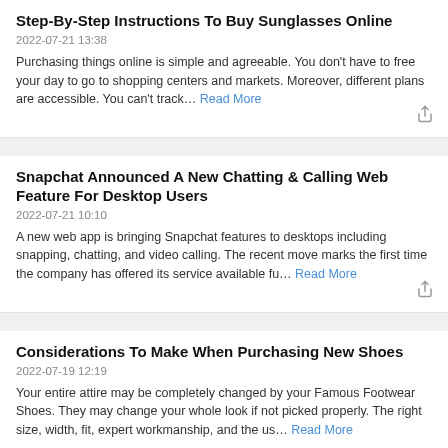Step-By-Step Instructions To Buy Sunglasses Online
2022-07-21 13:38
Purchasing things online is simple and agreeable. You don't have to free your day to go to shopping centers and markets. Moreover, different plans are accessible. You can't track… Read More
Snapchat Announced A New Chatting & Calling Web Feature For Desktop Users
2022-07-21 10:10
A new web app is bringing Snapchat features to desktops including snapping, chatting, and video calling. The recent move marks the first time the company has offered its service available fu… Read More
Considerations To Make When Purchasing New Shoes
2022-07-19 12:19
Your entire attire may be completely changed by your Famous Footwear Shoes. They may change your whole look if not picked properly. The right size, width, fit, expert workmanship, and the us… Read More